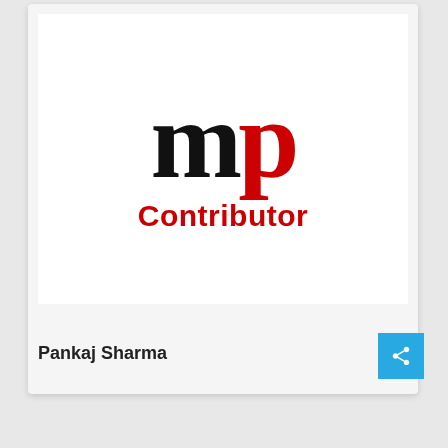[Figure (logo): MP Contributor logo with large black 'm' and red 'p' letters followed by the word 'Contributor' in red]
Pankaj Sharma